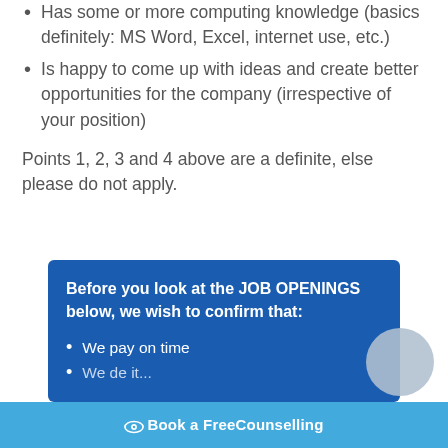Has some or more computing knowledge (basics definitely: MS Word, Excel, internet use, etc.)
Is happy to come up with ideas and create better opportunities for the company (irrespective of your position)
Points 1, 2, 3 and 4 above are a definite, else please do not apply.
Before you look at the JOB OPENINGS below, we wish to confirm that:
We pay on time
Book a FreeCounselling